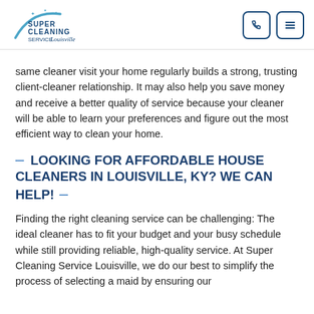Super Cleaning Service Louisville
same cleaner visit your home regularly builds a strong, trusting client-cleaner relationship. It may also help you save money and receive a better quality of service because your cleaner will be able to learn your preferences and figure out the most efficient way to clean your home.
LOOKING FOR AFFORDABLE HOUSE CLEANERS IN LOUISVILLE, KY? WE CAN HELP!
Finding the right cleaning service can be challenging: The ideal cleaner has to fit your budget and your busy schedule while still providing reliable, high-quality service. At Super Cleaning Service Louisville, we do our best to simplify the process of selecting a maid by ensuring our